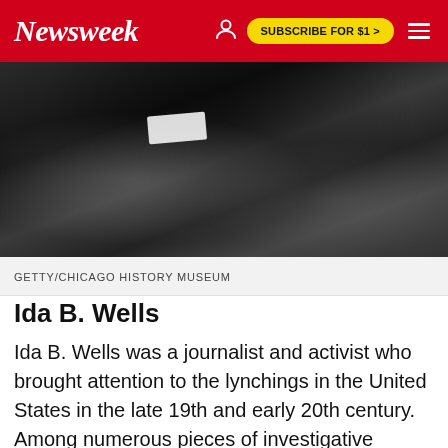Newsweek  SUBSCRIBE FOR $1 >
[Figure (photo): Black and white photograph showing a person in a dark suit, with a white shirt cuff visible and a hand with a ring partially visible at right side.]
GETTY/CHICAGO HISTORY MUSEUM
Ida B. Wells
Ida B. Wells was a journalist and activist who brought attention to the lynchings in the United States in the late 19th and early 20th century. Among numerous pieces of investigative